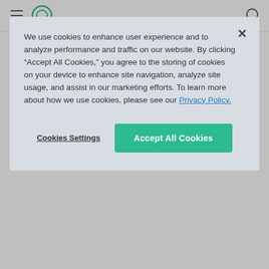[Figure (screenshot): Website navigation bar with hamburger menu icon, circular logo, and search icon on the right]
Media & Telecom    Retail & E-Commerce
Role
Customer Success Analytics
Finance Analytics
HR Analytics
Marketing Analytics
Product Analytics
Sales Analytics
We use cookies to enhance user experience and to analyze performance and traffic on our website. By clicking “Accept All Cookies,” you agree to the storing of cookies on your device to enhance site navigation, analyze site usage, and assist in our marketing efforts. To learn more about how we use cookies, please see our Privacy Policy.
Cookies Settings
Accept All Cookies